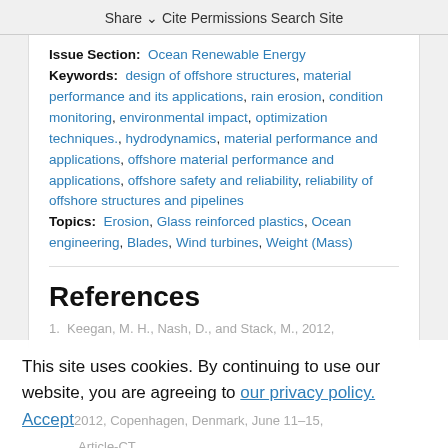Share  Cite  Permissions  Search Site
Issue Section: Ocean Renewable Energy
Keywords: design of offshore structures, material performance and its applications, rain erosion, condition monitoring, environmental impact, optimization techniques., hydrodynamics, material performance and applications, offshore material performance and applications, offshore safety and reliability, reliability of offshore structures and pipelines
Topics: Erosion, Glass reinforced plastics, Ocean engineering, Blades, Wind turbines, Weight (Mass)
References
1. Keegan, M. H., Nash, D., and Stack, M., 2012,
This site uses cookies. By continuing to use our website, you are agreeing to our privacy policy. Accept
2012, Copenhagen, Denmark, June 11–15, Article-CT.